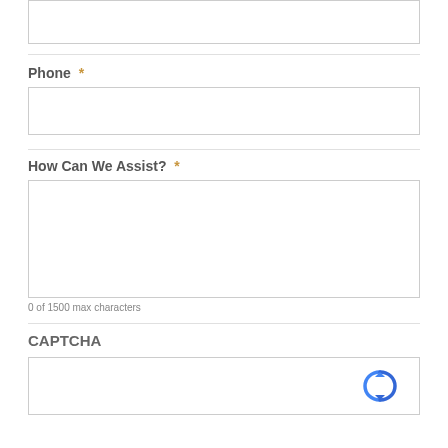(input box — top partial)
Phone *
(phone input box)
How Can We Assist? *
(textarea)
0 of 1500 max characters
CAPTCHA
[Figure (other): reCAPTCHA checkbox widget]